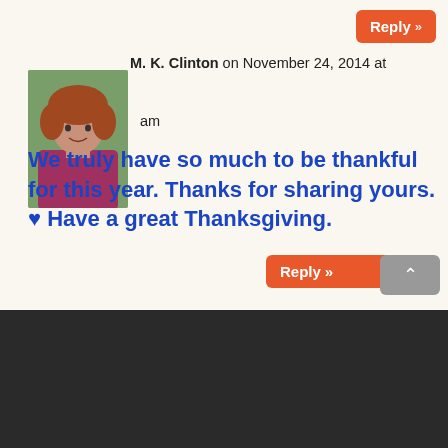[Figure (other): Reply button with chevrons at top right, orange background]
M. K. Clinton on November 24, 2014 at
[Figure (photo): Avatar photo of a woman with curly reddish hair wearing a pink/magenta jacket]
am
We truly have so much to be thankful for this year. Thanks for sharing yours. ♥ Have a great Thanksgiving.
[Figure (other): Reply button with chevrons at bottom right, orange background]
[Figure (other): Scroll to top arrow button, gray background]
× (close button)
Amy Shojai on November 24, 2014 at
[Figure (photo): Dark avatar photo of a person]
pm
Privacy Preferences
I Agree
ou too, MiKi!